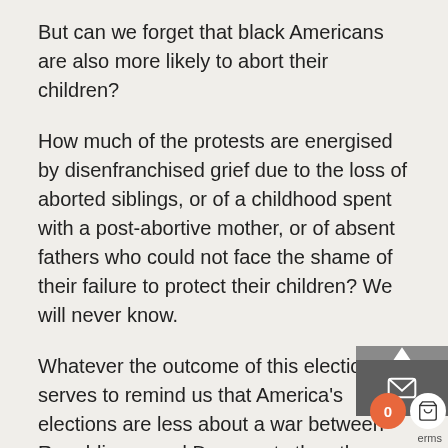But can we forget that black Americans are also more likely to abort their children?
How much of the protests are energised by disenfranchised grief due to the loss of aborted siblings, or of a childhood spent with a post-abortive mother, or of absent fathers who could not face the shame of their failure to protect their children? We will never know.
Whatever the outcome of this election, it serves to remind us that America's elections are less about a war between Republicans and Democrats than they are about the abortion wars.
America doesn't merely count the loss of millions of babies killed by abortion: she grieves for them, whether this is acknowledged or not. Biden and Harris represent the countless millions who grieve yet choose to reject God's